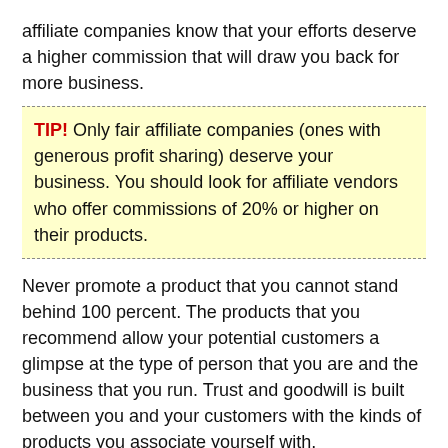affiliate companies know that your efforts deserve a higher commission that will draw you back for more business.
TIP! Only fair affiliate companies (ones with generous profit sharing) deserve your business. You should look for affiliate vendors who offer commissions of 20% or higher on their products.
Never promote a product that you cannot stand behind 100 percent. The products that you recommend allow your potential customers a glimpse at the type of person that you are and the business that you run. Trust and goodwill is built between you and your customers with the kinds of products you associate yourself with. Recommending quality products at an affordable price is the best way to keep customers.